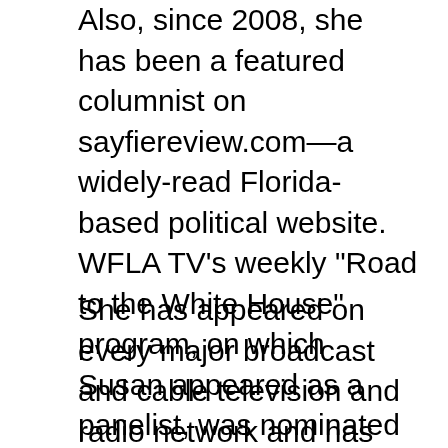Also, since 2008, she has been a featured columnist on sayfiereview.com—a widely-read Florida-based political website. WFLA TV's weekly "Road to the White House" program, on which Susan appeared as a panelist, was nominated for a Suncoast Emmy award in 2008.
She has appeared on every major broadcast and cable television and radio network and has been interviewed by major newspapers in Florida, the U.S., and abroad. She is Florida's most-quoted political scientist. Susan is the co-author of Politics in States and Communities, 13th ed., with Thomas R. Dye (Prentice Hall 2009), Florida's Politics, 2nd ed., with Thomas R. Dye and Aubrey Jewett (Florida Institute of Government, 2007) and Florida's Politics: Ten Media Markets, One Powerful State with Kevin Hill and Dario Moreno (Florida Institute of Government, 2004). She is also the author of Young v. Old: Generational Combat in the 21st Century? (Westview, 1996) and Targeting Senior Voters (Rowman & Littlefield, 2004). Susan and her mother, Elizabeth, are the authors of two local Florida